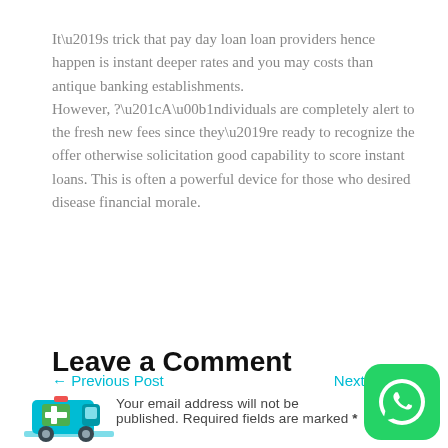It’s trick that pay day loan loan providers hence happen is instant deeper rates and you may costs than antique banking establishments.
However, ?“A±ndividuals are completely alert to the fresh new fees since they’re ready to recognize the offer otherwise solicitation good capability to score instant loans. This is often a powerful device for those who desired disease financial morale.
← Previous Post
Next Post →
Post
Leave a Comment
Your email address will not be published. Required fields are marked *
[Figure (illustration): Blue ambulance/medical vehicle icon with green cross]
[Figure (logo): WhatsApp icon on green rounded square button]